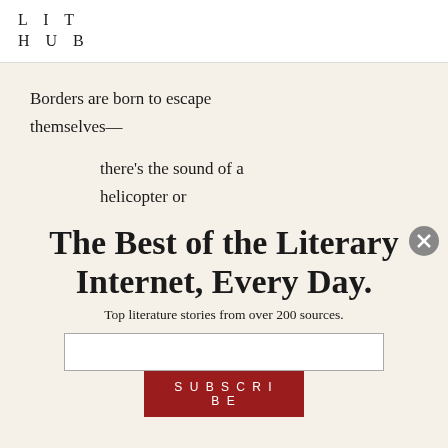LIT HUB
Borders are born to escape themselves—
there's the sound of a helicopter or
The Best of the Literary Internet, Every Day.
Top literature stories from over 200 sources.